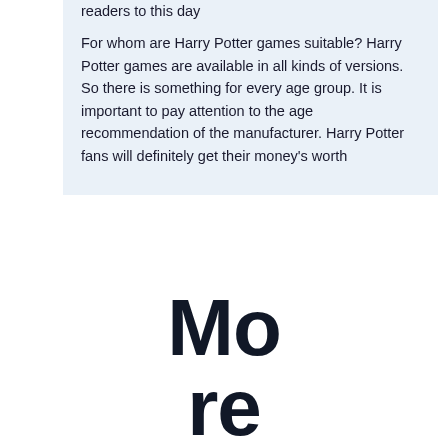readers to this day
For whom are Harry Potter games suitable? Harry Potter games are available in all kinds of versions. So there is something for every age group. It is important to pay attention to the age recommendation of the manufacturer. Harry Potter fans will definitely get their money's worth
More